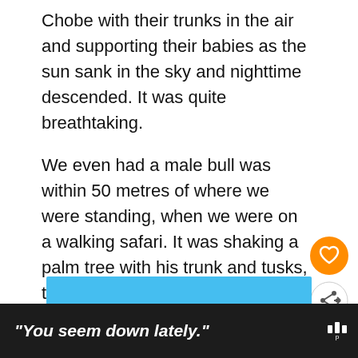Chobe with their trunks in the air and supporting their babies as the sun sank in the sky and nighttime descended. It was quite breathtaking.
We even had a male bull was within 50 metres of where we were standing, when we were on a walking safari. It was shaking a palm tree with his trunk and tusks, to release the fruit and seeds to eat.
[Figure (infographic): Orange circular heart/like button icon]
[Figure (infographic): White circular share button icon with share arrows]
[Figure (infographic): What's Next panel with thumbnail image and text 'What to wear on safari in...']
[Figure (screenshot): Advertisement banner. Top portion shows a blue strip. Bottom black bar shows italic bold white text: "You seem down lately." with a Mastercard-style audio logo on the right.]